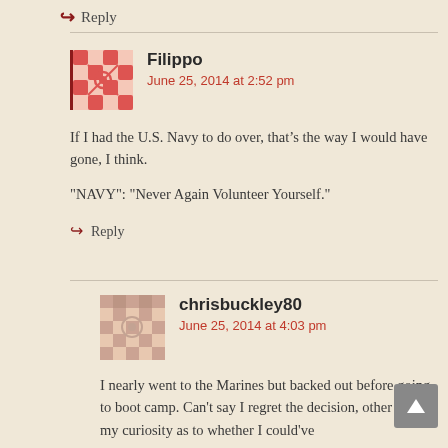↪ Reply
Filippo
June 25, 2014 at 2:52 pm
If I had the U.S. Navy to do over, that's the way I would have gone, I think.

"NAVY": "Never Again Volunteer Yourself."
↪ Reply
chrisbuckley80
June 25, 2014 at 4:03 pm
I nearly went to the Marines but backed out before going to boot camp. Can't say I regret the decision, other than my curiosity as to whether I could've